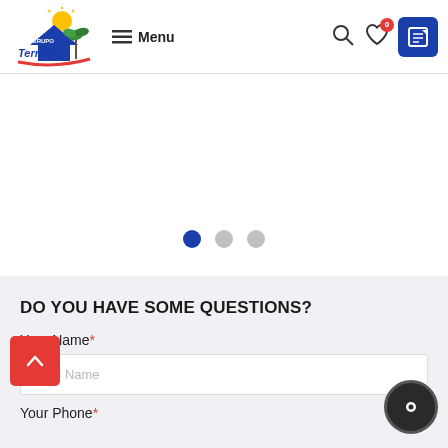[Figure (logo): Grupo Terrasun logo with sun and house graphic and red swoosh underline]
≡ Menu
[Figure (other): Navigation icons: search, wishlist with badge 0, edit/write button in dark blue]
[Figure (other): Slider pagination dots: first dot active (dark blue), second and third dots inactive (gray)]
DO YOU HAVE SOME QUESTIONS?
Your Name*
Your Name (placeholder)
Your Phone*